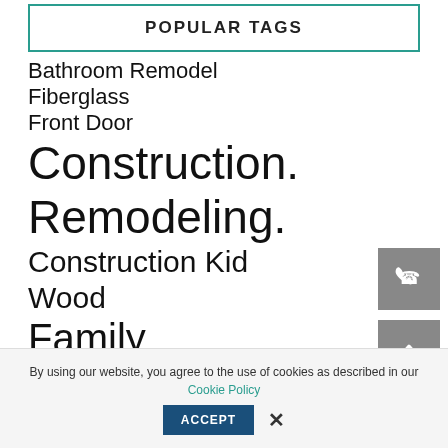POPULAR TAGS
Bathroom Remodel
Fiberglass
Front Door
Construction.
Remodeling.
Construction Kid
Wood
Family
Custom
Destiny
By using our website, you agree to the use of cookies as described in our Cookie Policy